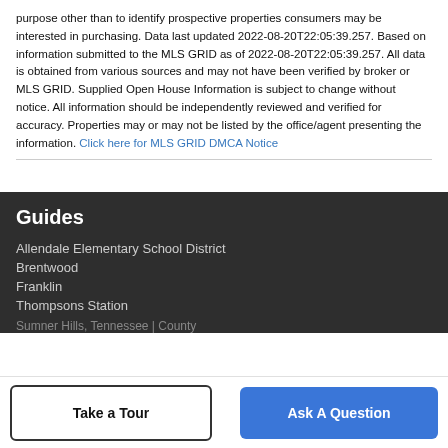purpose other than to identify prospective properties consumers may be interested in purchasing. Data last updated 2022-08-20T22:05:39.257. Based on information submitted to the MLS GRID as of 2022-08-20T22:05:39.257. All data is obtained from various sources and may not have been verified by broker or MLS GRID. Supplied Open House Information is subject to change without notice. All information should be independently reviewed and verified for accuracy. Properties may or may not be listed by the office/agent presenting the information. Click here for MLS GRID DMCA Notice
Guides
Allendale Elementary School District
Brentwood
Franklin
Thompsons Station
Sumner Hills, Tennessee | County